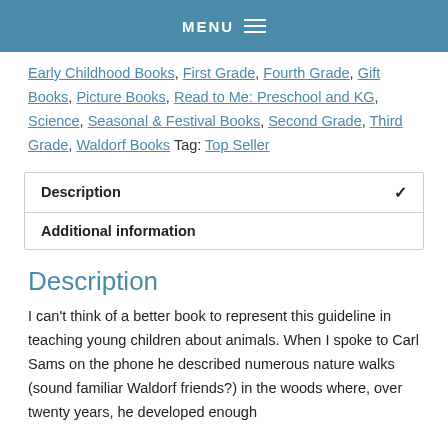MENU
Early Childhood Books, First Grade, Fourth Grade, Gift Books, Picture Books, Read to Me: Preschool and KG, Science, Seasonal & Festival Books, Second Grade, Third Grade, Waldorf Books Tag: Top Seller
| Description | ✓ |
| Additional information |  |
Description
I can't think of a better book to represent this guideline in teaching young children about animals. When I spoke to Carl Sams on the phone he described numerous nature walks (sound familiar Waldorf friends?) in the woods where, over twenty years, he developed enough